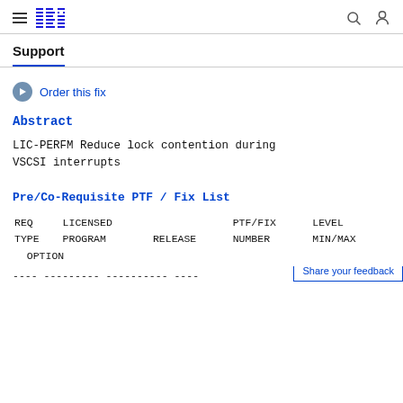IBM Support
Support
Order this fix
Abstract
LIC-PERFM Reduce lock contention during VSCSI interrupts
Pre/Co-Requisite PTF / Fix List
| REQ TYPE | LICENSED PROGRAM | RELEASE | PTF/FIX NUMBER | LEVEL MIN/MAX OPTION |
| --- | --- | --- | --- | --- |
| ---- | --------- | ---------- | ---- |  |